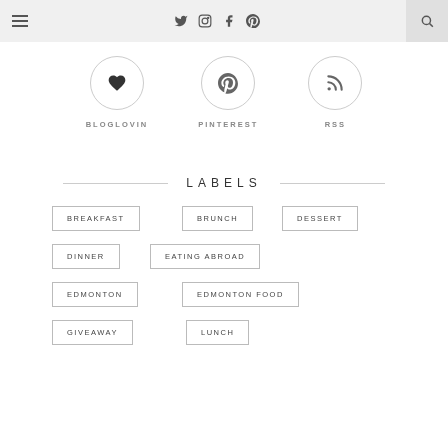Navigation bar with hamburger menu, social icons (Twitter, Instagram, Facebook, Pinterest), and search
[Figure (infographic): Three social media icon circles: heart (Bloglovin), Pinterest pin, RSS feed symbol with labels BLOGLOVIN, PINTEREST, RSS]
LABELS
BREAKFAST
BRUNCH
DESSERT
DINNER
EATING ABROAD
EDMONTON
EDMONTON FOOD
GIVEAWAY
LUNCH